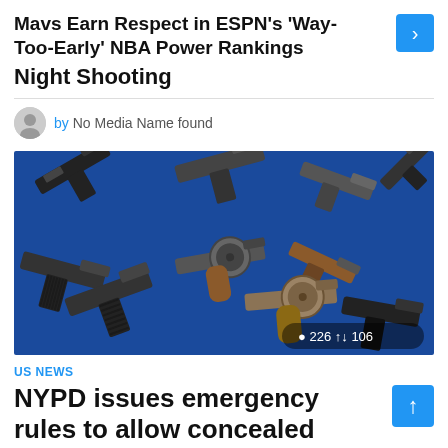Mavs Earn Respect in ESPN's 'Way-Too-Early' NBA Power Rankings
Night Shooting
by No Media Name found
[Figure (photo): Multiple handguns and pistols laid out on a blue surface, with view count 226 and share count 106 shown in overlay]
US NEWS
NYPD issues emergency rules to allow concealed carry handgun